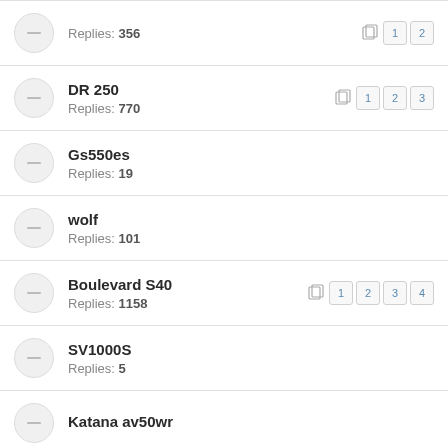Replies: 356, pages: 1, 2
DR 250, Replies: 770, pages: 1, 2, 3
Gs550es, Replies: 19
wolf, Replies: 101
Boulevard S40, Replies: 1158, pages: 1, 2, 3, 4
SV1000S, Replies: 5
Katana av50wr